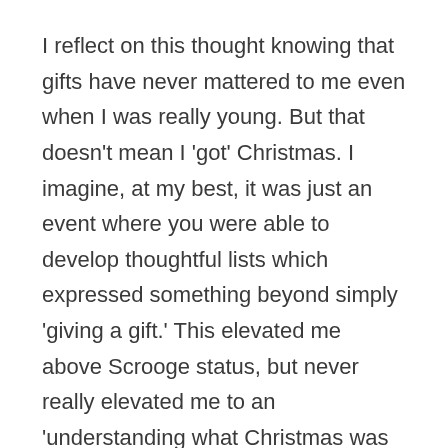I reflect on this thought knowing that gifts have never mattered to me even when I was really young. But that doesn't mean I 'got' Christmas. I imagine, at my best, it was just an event where you were able to develop thoughtful lists which expressed something beyond simply 'giving a gift.' This elevated me above Scrooge status, but never really elevated me to an 'understanding what Christmas was really all about' status.
Today? Well. As usual, I am a work in